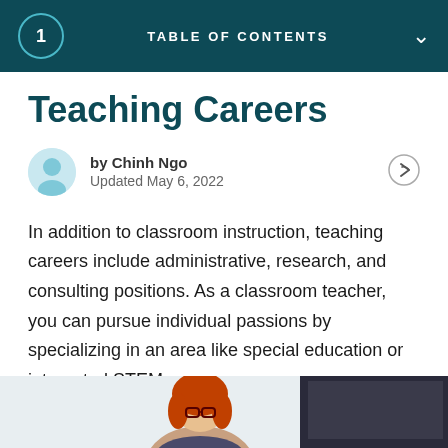1  TABLE OF CONTENTS
Teaching Careers
by Chinh Ngo
Updated May 6, 2022
In addition to classroom instruction, teaching careers include administrative, research, and consulting positions. As a classroom teacher, you can pursue individual passions by specializing in an area like special education or integrated STEM.
[Figure (photo): Photo of a woman with red hair and glasses, partially visible at the bottom of the page, standing in front of a presentation board.]